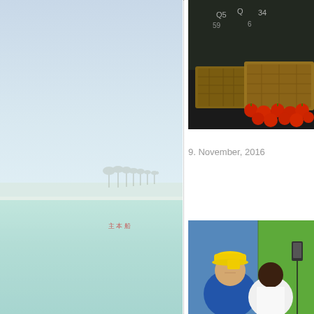[Figure (photo): Beach scene with pale blue sky, calm turquoise water, and palm trees on a white sand shore in the distance. Red text characters visible in the middle distance.]
[Figure (photo): Market scene with baskets of tomatoes and a dark chalkboard with prices written in chalk in the background.]
9. November, 2016
[Figure (photo): Two people seated in front of a blue and green painted wall — an older man wearing a yellow cap and blue vest, and a younger woman in a white shirt.]